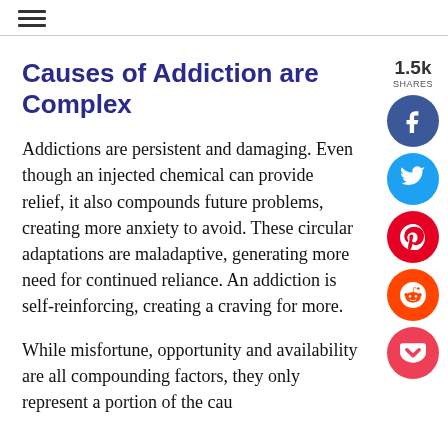≡
Causes of Addiction are Complex
Addictions are persistent and damaging. Even though an injected chemical can provide relief, it also compounds future problems, creating more anxiety to avoid. These circular adaptations are maladaptive, generating more need for continued reliance. An addiction is self-reinforcing, creating a craving for more.
While misfortune, opportunity and availability are all compounding factors, they only represent a portion of the causes